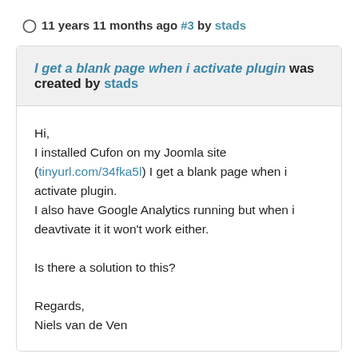11 years 11 months ago #3 by stads
I get a blank page when i activate plugin was created by stads
Hi,
I installed Cufon on my Joomla site (tinyurl.com/34fka5l) I get a blank page when i activate plugin.
I also have Google Analytics running but when i deavtivate it it won't work either.

Is there a solution to this?

Regards,
Niels van de Ven